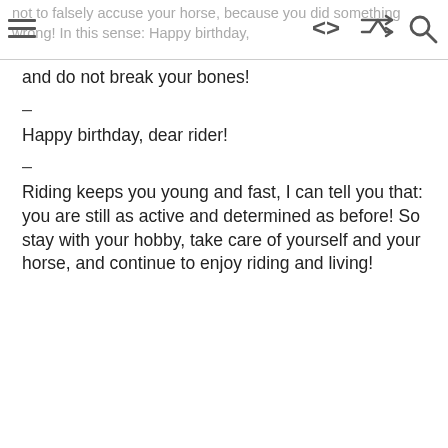not to falsely accuse your horse, because you did something wrong! In this sense: Happy birthday,
and do not break your bones!
–
Happy birthday, dear rider!
–
Riding keeps you young and fast, I can tell you that: you are still as active and determined as before! So stay with your hobby, take care of yourself and your horse, and continue to enjoy riding and living!